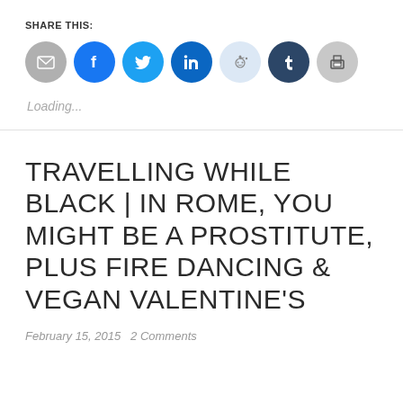SHARE THIS:
[Figure (infographic): Row of social sharing buttons: email (grey circle), Facebook (blue circle), Twitter (light blue circle), LinkedIn (dark blue circle), Reddit (light blue circle), Tumblr (dark navy circle), Print (grey circle)]
Loading...
TRAVELLING WHILE BLACK | IN ROME, YOU MIGHT BE A PROSTITUTE, PLUS FIRE DANCING & VEGAN VALENTINE'S
February 15, 2015   2 Comments